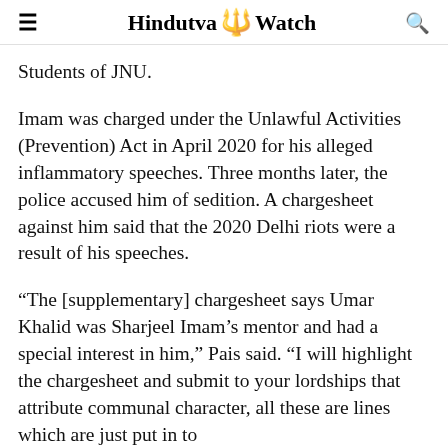Hindutva Watch
Students of JNU.
Imam was charged under the Unlawful Activities (Prevention) Act in April 2020 for his alleged inflammatory speeches. Three months later, the police accused him of sedition. A chargesheet against him said that the 2020 Delhi riots were a result of his speeches.
“The [supplementary] chargesheet says Umar Khalid was Sharjeel Imam’s mentor and had a special interest in him,” Pais said. “I will highlight the chargesheet and submit to your lordships that attribute communal character, all these are lines which are just put in to